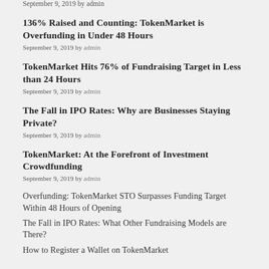September 9, 2019 by admin
136% Raised and Counting: TokenMarket is Overfunding in Under 48 Hours
September 9, 2019 by admin
TokenMarket Hits 76% of Fundraising Target in Less than 24 Hours
September 9, 2019 by admin
The Fall in IPO Rates: Why are Businesses Staying Private?
September 9, 2019 by admin
TokenMarket: At the Forefront of Investment Crowdfunding
September 9, 2019 by admin
Overfunding: TokenMarket STO Surpasses Funding Target Within 48 Hours of Opening
The Fall in IPO Rates: What Other Fundraising Models are There?
How to Register a Wallet on TokenMarket